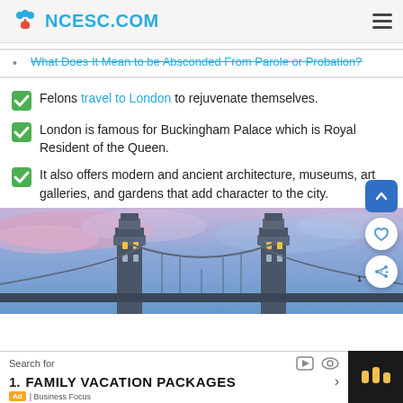NCESC.COM
What Does It Mean to be Absconded From Parole or Probation?
Felons travel to London to rejuvenate themselves.
London is famous for Buckingham Palace which is Royal Resident of the Queen.
It also offers modern and ancient architecture, museums, art galleries, and gardens that add character to the city.
[Figure (photo): Tower Bridge in London against a pink and blue sky at dusk]
Search for  1. FAMILY VACATION PACKAGES  Ad | Business Focus